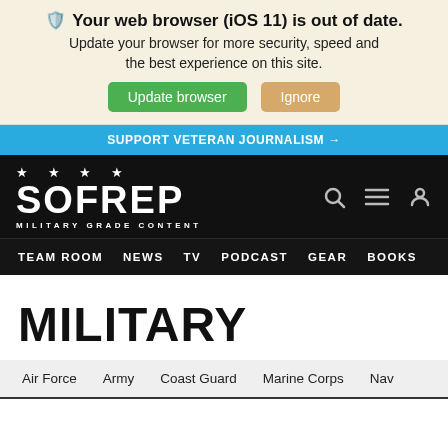🛡️ Your web browser (iOS 11) is out of date. Update your browser for more security, speed and the best experience on this site. Update browser | Ignore
SUPPORT VETERAN JOURNALISM →
[Figure (logo): SOFREP logo with stars and MILITARY GRADE CONTENT tagline on black background]
TEAM ROOM  NEWS  TV  PODCAST  GEAR  BOOKS
MILITARY
Air Force   Army   Coast Guard   Marine Corps   Navy